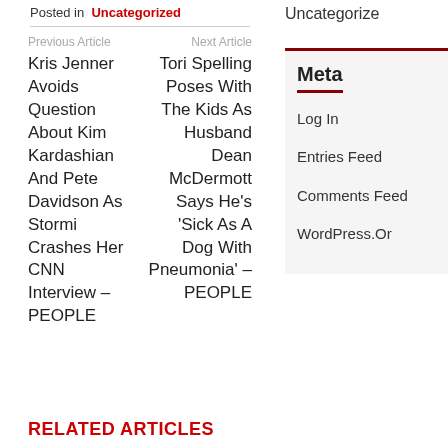Posted in Uncategorized
Previous Article
Kris Jenner Avoids Question About Kim Kardashian And Pete Davidson As Stormi Crashes Her CNN Interview – PEOPLE
Next Article
Tori Spelling Poses With The Kids As Husband Dean McDermott Says He's 'Sick As A Dog With Pneumonia' – PEOPLE
Uncategorized
Meta
Log In
Entries Feed
Comments Feed
WordPress.Or
RELATED ARTICLES